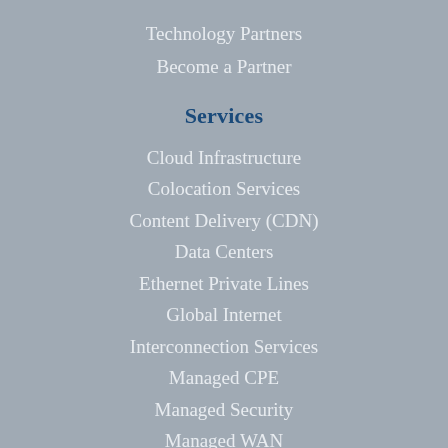Technology Partners
Become a Partner
Services
Cloud Infrastructure
Colocation Services
Content Delivery (CDN)
Data Centers
Ethernet Private Lines
Global Internet
Interconnection Services
Managed CPE
Managed Security
Managed WAN
IP VPN
NetCare